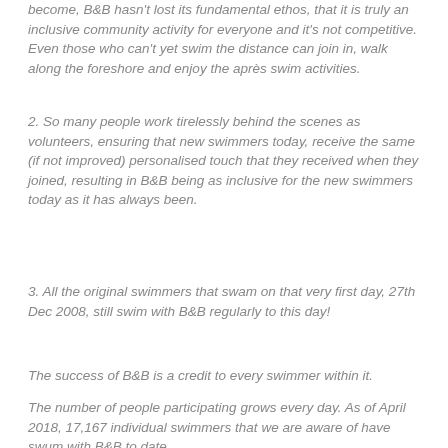become, B&B hasn't lost its fundamental ethos, that it is truly an inclusive community activity for everyone and it's not competitive. Even those who can't yet swim the distance can join in, walk along the foreshore and enjoy the après swim activities.
2. So many people work tirelessly behind the scenes as volunteers, ensuring that new swimmers today, receive the same (if not improved) personalised touch that they received when they joined, resulting in B&B being as inclusive for the new swimmers today as it has always been.
3. All the original swimmers that swam on that very first day, 27th Dec 2008, still swim with B&B regularly to this day!
The success of B&B is a credit to every swimmer within it.
The number of people participating grows every day. As of April 2018, 17,167 individual swimmers that we are aware of have swum with B&B to date.